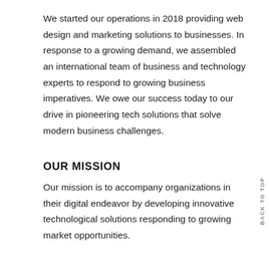We started our operations in 2018 providing web design and marketing solutions to businesses. In response to a growing demand, we assembled an international team of business and technology experts to respond to growing business imperatives. We owe our success today to our drive in pioneering tech solutions that solve modern business challenges.
OUR MISSION
Our mission is to accompany organizations in their digital endeavor by developing innovative technological solutions responding to growing market opportunities.